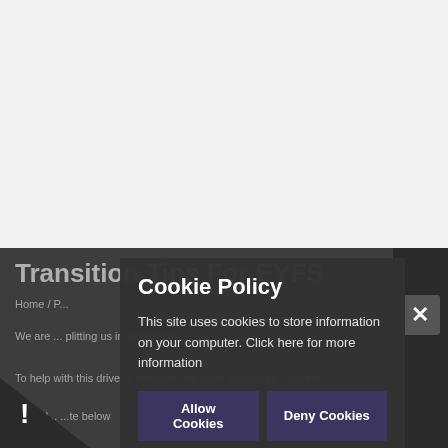[Figure (screenshot): Website page screenshot showing a light grey upper portion and a dark grey lower section with page content partially visible. The page title 'Transition Tips For EYFS' and breadcrumb navigation are partially visible in the dark section background.]
Cookie Policy
This site uses cookies to store information on your computer. Click here for more information
Allow Cookies
Deny Cookies